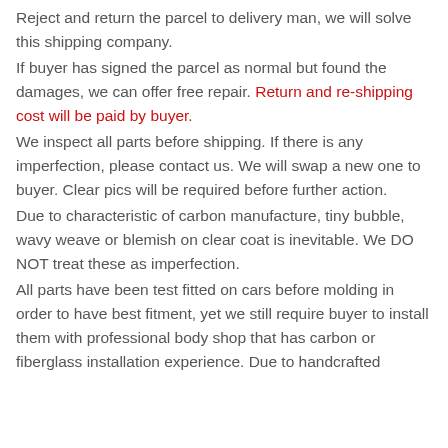Reject and return the parcel to delivery man, we will solve this shipping company.
If buyer has signed the parcel as normal but found the damages, we can offer free repair. Return and re-shipping cost will be paid by buyer.
We inspect all parts before shipping. If there is any imperfection, please contact us. We will swap a new one to buyer. Clear pics will be required before further action.
Due to characteristic of carbon manufacture, tiny bubble, wavy weave or blemish on clear coat is inevitable. We DO NOT treat these as imperfection.
All parts have been test fitted on cars before molding in order to have best fitment, yet we still require buyer to install them with professional body shop that has carbon or fiberglass installation experience. Due to handcrafted